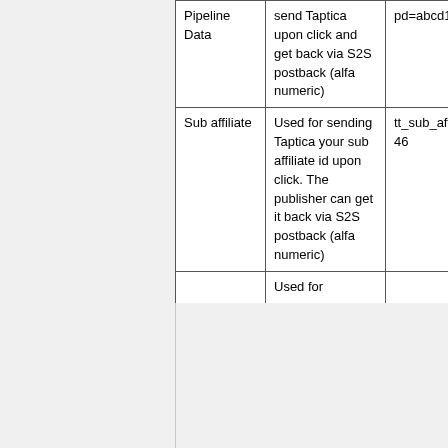|  | Description | Example |
| --- | --- | --- |
| Pipeline Data | send Taptica upon click and get back via S2S postback (alfa numeric) | pd=abcd1234 |
| Sub affiliate | Used for sending Taptica your sub affiliate id upon click. The publisher can get it back via S2S postback (alfa numeric) | tt_sub_aff=13461d46 |
|  | Used for |  |